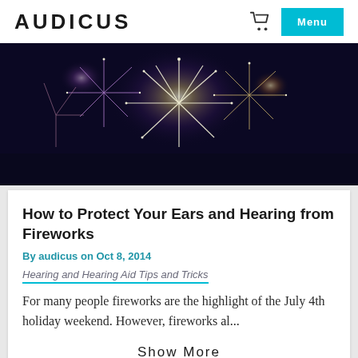AUDICUS
[Figure (photo): Colorful fireworks exploding against a dark night sky]
How to Protect Your Ears and Hearing from Fireworks
By audicus on Oct 8, 2014
Hearing and Hearing Aid Tips and Tricks
For many people fireworks are the highlight of the July 4th holiday weekend.  However, fireworks al...
Show More
[Figure (photo): Partial bottom image strip, appears to be a street or outdoor scene]